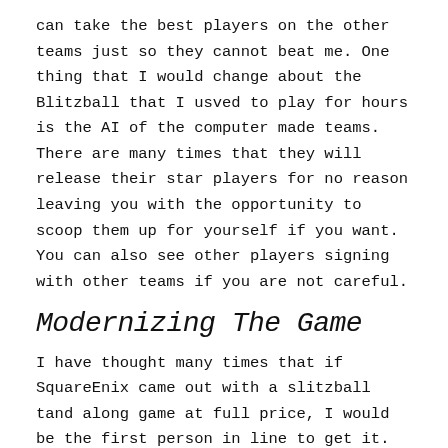can take the best players on the other teams just so they cannot beat me. One thing that I would change about the Blitzball that I usved to play for hours is the AI of the computer made teams. There are many times that they will release their star players for no reason leaving you with the opportunity to scoop them up for yourself if you want. You can also see other players signing with other teams if you are not careful.
Modernizing The Game
I have thought many times that if SquareEnix came out with a slitzball tand along game at full price, I would be the first person in line to get it. That being said, I can see a lot of potential in Blitzball and think that it would make an excellent exclusive game for Sony.
The way that I would do the game Is that everyone starts out as regular players and must compete in order to ear money.